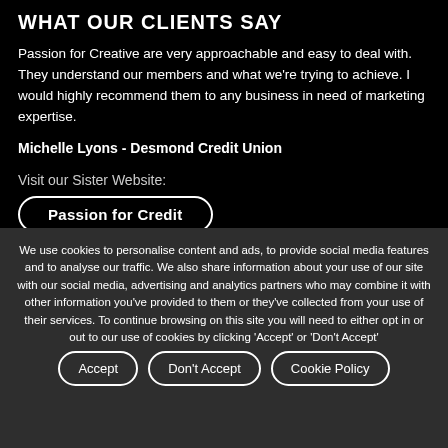WHAT OUR CLIENTS SAY
Passion for Creative are very approachable and easy to deal with. They understand our members and what we're trying to achieve. I would highly recommend them to any business in need of marketing expertise.
Michelle Lyons - Desmond Credit Union
Visit our Sister Website:
Passion for Credit
We use cookies to personalise content and ads, to provide social media features and to analyse our traffic. We also share information about your use of our site with our social media, advertising and analytics partners who may combine it with other information you've provided to them or they've collected from your use of their services. To continue browsing on this site you will need to either opt in or out to our use of cookies by clicking 'Accept' or 'Don't Accept'
Accept
Don't Accept
Cookie Policy